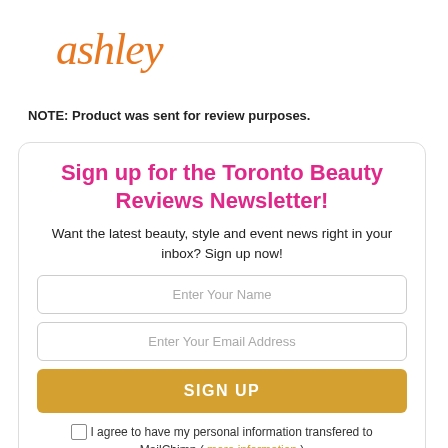ashley
NOTE: Product was sent for review purposes.
Sign up for the Toronto Beauty Reviews Newsletter!
Want the latest beauty, style and event news right in your inbox? Sign up now!
Enter Your Name
Enter Your Email Address
SIGN UP
I agree to have my personal information transfered to MailChimp ( more information )